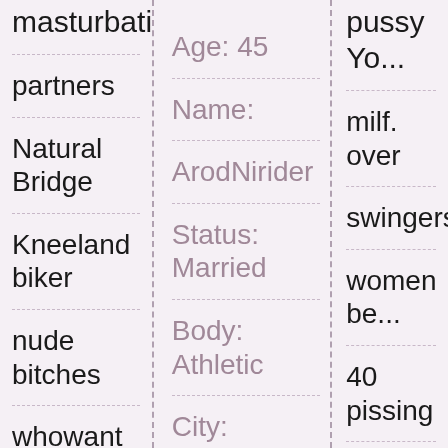masturbating
partners
Natural Bridge
Kneeland biker
nude bitches
whowant filled
with cum
guzzle.
Hair: Auburn
Age: 45
Name:
ArodNirider
Status: Married
Body: Athletic
City: Manuels, Newfoundland
pussy Yo...
milf. over
swingers
women be...
40 pissing
city Lawn...
water skii...
Hair: Blo...